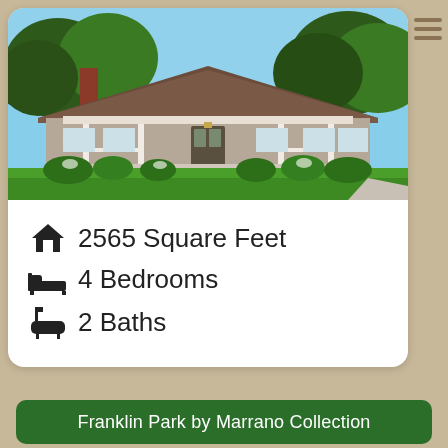[Figure (photo): Exterior rendering of a single-story ranch-style home with brown roof, covered front porch with white railings, beige/gray siding, red brick chimney, green lawn, and trees in background.]
2565 Square Feet
4 Bedrooms
2 Baths
Franklin Park by Marrano Collection